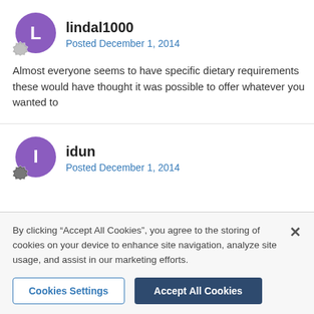lindal1000
Posted December 1, 2014
Almost everyone seems to have specific dietary requirements these would have thought it was possible to offer whatever you wanted to
idun
Posted December 1, 2014
By clicking “Accept All Cookies”, you agree to the storing of cookies on your device to enhance site navigation, analyze site usage, and assist in our marketing efforts.